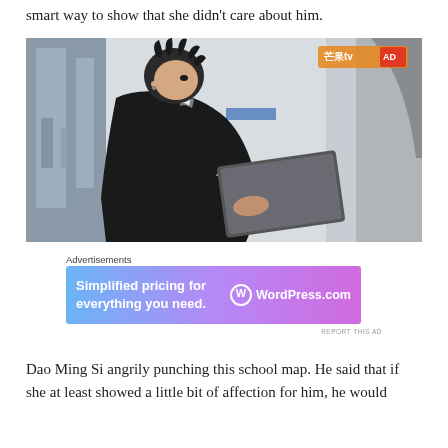smart way to show that she didn't care about him.
[Figure (photo): A young man in a black and white varsity jacket looking down at a gray tablet or board, standing in what appears to be a school hallway. Another person is partially visible on the right. A streaming service watermark (芒果tv) is visible in the top right corner.]
Advertisements
[Figure (other): Advertisement banner for WordPress.com reading 'Simplified pricing for everything you need.' with WordPress.com logo on a blue-purple gradient background.]
REPORT THIS AD
Dao Ming Si angrily punching this school map. He said that if she at least showed a little bit of affection for him, he would